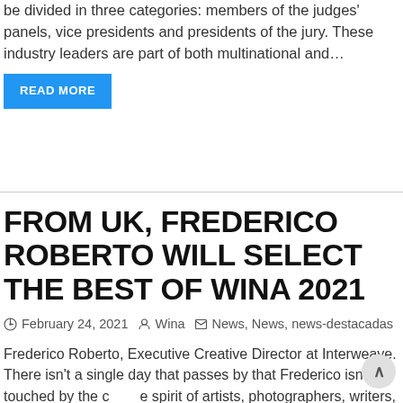be divided in three categories: members of the judges' panels, vice presidents and presidents of the jury. These industry leaders are part of both multinational and…
READ MORE
FROM UK, FREDERICO ROBERTO WILL SELECT THE BEST OF WINA 2021
February 24, 2021   Wina   News, News, news-destacadas
Frederico Roberto, Executive Creative Director at Interweave. There isn't a single day that passes by that Frederico isn't touched by the creative spirit of artists, photographers, writers, painters, musicians, etc. And he